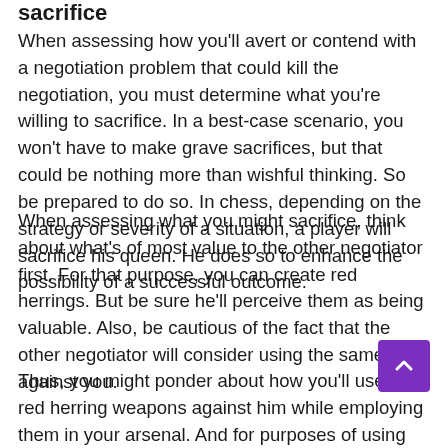sacrifice
When assessing how you'll avert or contend with a negotiation problem that could kill the negotiation, you must determine what you're willing to sacrifice. In a best-case scenario, you won't have to make grave sacrifices, but that could be nothing more than wishful thinking. So be prepared to do so. In chess, depending on the strategy or severity of a situation, a player will sacrifice his queen. He does so to enhance the possibility of a successful outcome.
When assessing what you might sacrifice, think about what's of most value to the other negotiator first. For that purpose, you can create red herrings. But be sure he'll perceive them as being valuable. Also, be cautious of the fact that the other negotiator will consider using the same ploy against you.
Thus, you might ponder about how you'll use his red herring weapons against him while employing them in your arsenal. And for purposes of using red herrings in a negotiation, they can be